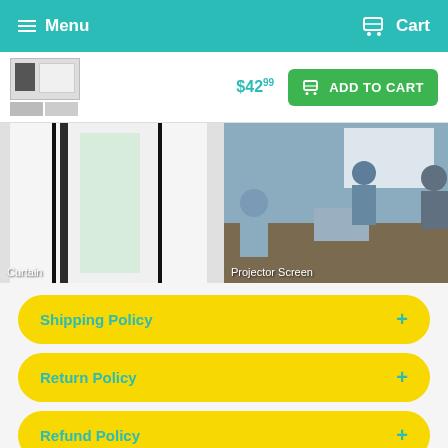Menu   Cart
$42.99  ADD TO CART
[Figure (photo): Two side-by-side product images: left shows a curtain with black borders near a window, labeled 'Curtain'; right shows a business meeting with people at a conference table and a projector screen, labeled 'Projector Screen']
Shipping Policy +
Return Policy +
Refund Policy +
BACK TO TOP